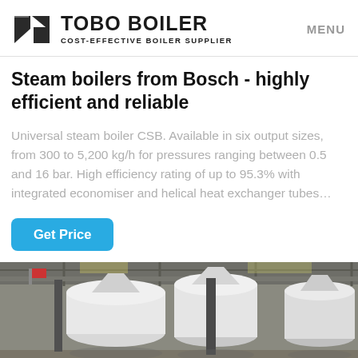TOBO BOILER — COST-EFFECTIVE BOILER SUPPLIER | MENU
Steam boilers from Bosch - highly efficient and reliable
Universal steam boiler CSB. Available in six output sizes, from 300 to 5,200 kg/h for pressures ranging between 0.5 and 16 bar. High efficiency rating of up to 95.3% with integrated economiser and helical heat exchanger tubes…
Get Price
[Figure (photo): Industrial boiler manufacturing facility showing large white insulated boilers in a factory/warehouse setting with steel crane structures overhead.]